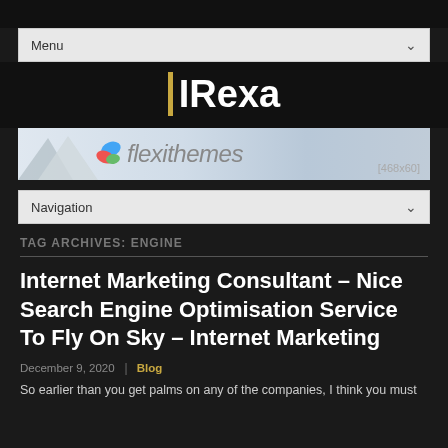Menu
[Figure (logo): IRexa logo with gold vertical bar and white text on dark background]
[Figure (illustration): Flexithemes banner advertisement [468x60] with mountains graphic and leaf logo]
Navigation
TAG ARCHIVES: ENGINE
Internet Marketing Consultant – Nice Search Engine Optimisation Service To Fly On Sky – Internet Marketing
December 9, 2020 | Blog
So earlier than you get palms on any of the companies, I think you must